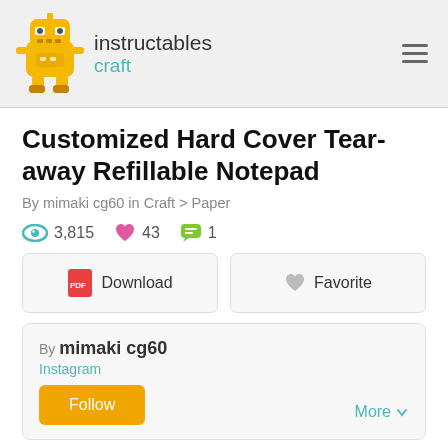instructables craft
Customized Hard Cover Tear-away Refillable Notepad
By mimaki cg60 in Craft > Paper
3,815 views  43 favorites  1 comment
Download  Favorite
By mimaki cg60
Instagram
Follow
More
Crafts following instructable found myself from...